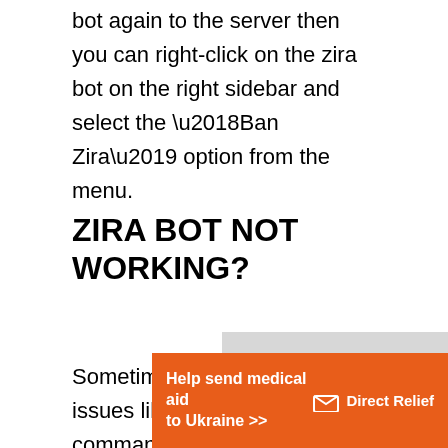bot again to the server then you can right-click on the zira bot on the right sidebar and select the ‘Ban Zira’ option from the menu.
ZIRA BOT NOT WORKING?
Sometimes the Zira Bot might have issues like not responding to commands or may be offline. In order to get the bot working correctly, you might need to follow
[Figure (other): Orange advertisement banner for Direct Relief - Help send medical aid to Ukraine with Direct Relief logo]
[Figure (other): Video player overlay showing 'No compatible source was found for this' message]